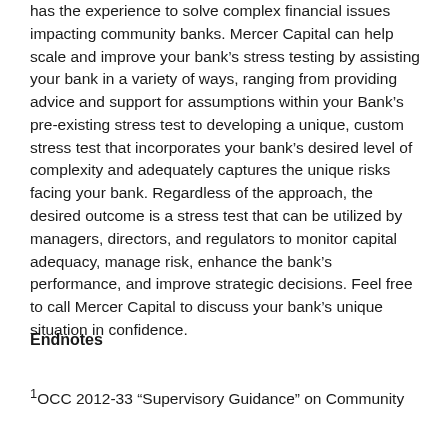has the experience to solve complex financial issues impacting community banks. Mercer Capital can help scale and improve your bank's stress testing by assisting your bank in a variety of ways, ranging from providing advice and support for assumptions within your Bank's pre-existing stress test to developing a unique, custom stress test that incorporates your bank's desired level of complexity and adequately captures the unique risks facing your bank. Regardless of the approach, the desired outcome is a stress test that can be utilized by managers, directors, and regulators to monitor capital adequacy, manage risk, enhance the bank's performance, and improve strategic decisions. Feel free to call Mercer Capital to discuss your bank's unique situation in confidence.
Endnotes
1OCC 2012-33 “Supervisory Guidance” on Community